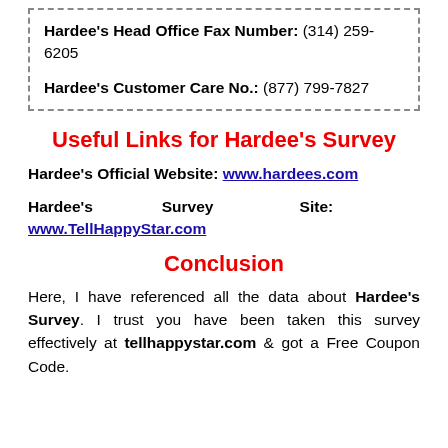Hardee's Head Office Fax Number: (314) 259-6205

Hardee's Customer Care No.: (877) 799-7827
Useful Links for Hardee's Survey
Hardee's Official Website: www.hardees.com
Hardee's Survey Site: www.TellHappyStar.com
Conclusion
Here, I have referenced all the data about Hardee's Survey. I trust you have been taken this survey effectively at tellhappystar.com & got a Free Coupon Code.